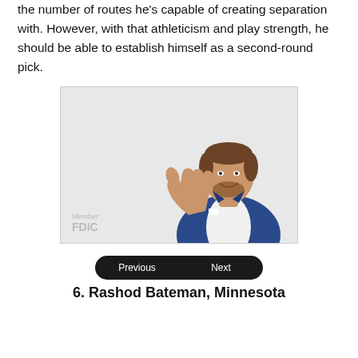the number of routes he's capable of creating separation with. However, with that athleticism and play strength, he should be able to establish himself as a second-round pick.
[Figure (photo): A smiling man in a blue suit pointing with his thumb, with 'Member FDIC' text in the lower left corner, set against a light grey background.]
Previous  Next
6. Rashod Bateman, Minnesota